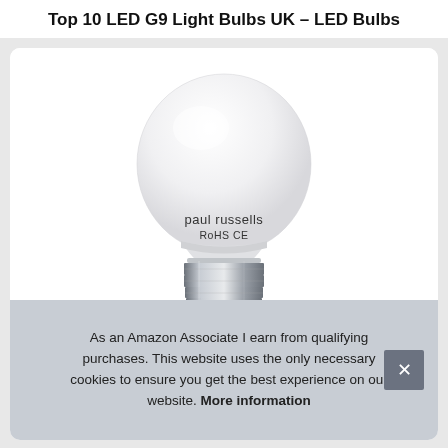Top 10 LED G9 Light Bulbs UK – LED Bulbs
[Figure (photo): A white LED light bulb with a G9 metal base. The bulb has a round frosted white globe on top and a silver/chrome screw base at the bottom. On the globe it reads 'paul russells' and 'RoHS CE'.]
As an Amazon Associate I earn from qualifying purchases. This website uses the only necessary cookies to ensure you get the best experience on our website. More information